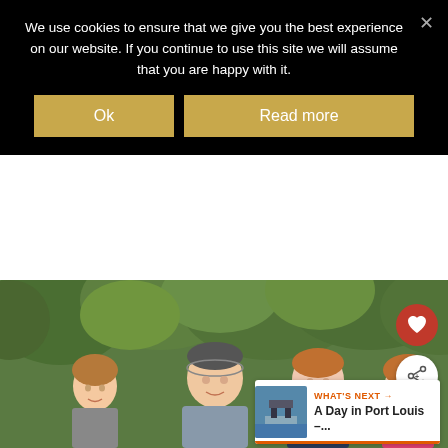We use cookies to ensure that we give you the best experience on our website. If you continue to use this site we will assume that you are happy with it.
[Figure (screenshot): Cookie consent banner with black background, white text, close X button, and two gold buttons: 'Ok' and 'Read more']
[Figure (photo): Family photo showing four people (a young boy, adult man, adult woman, and teenage girl) standing outdoors in front of green leafy trees. The website also shows a heart icon button, a share icon button, and a 'What's Next' panel linking to 'A Day in Port Louis –...']